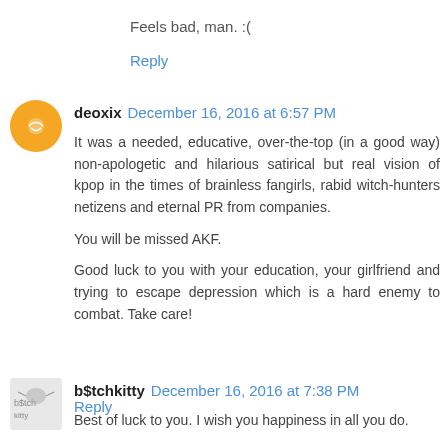Feels bad, man. :(
Reply
deoxix  December 16, 2016 at 6:57 PM
It was a needed, educative, over-the-top (in a good way) non-apologetic and hilarious satirical but real vision of kpop in the times of brainless fangirls, rabid witch-hunters netizens and eternal PR from companies.

You will be missed AKF.

Good luck to you with your education, your girlfriend and trying to escape depression which is a hard enemy to combat. Take care!
Reply
b$tchkitty  December 16, 2016 at 7:38 PM
Best of luck to you. I wish you happiness in all you do.